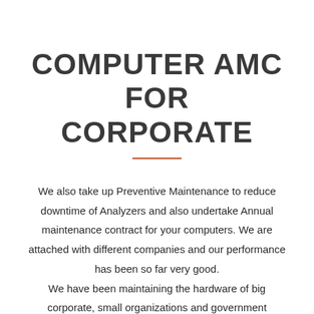COMPUTER AMC FOR CORPORATE
We also take up Preventive Maintenance to reduce downtime of Analyzers and also undertake Annual maintenance contract for your computers. We are attached with different companies and our performance has been so far very good. We have been maintaining the hardware of big corporate, small organizations and government undertaking. We have blended our qualitative service